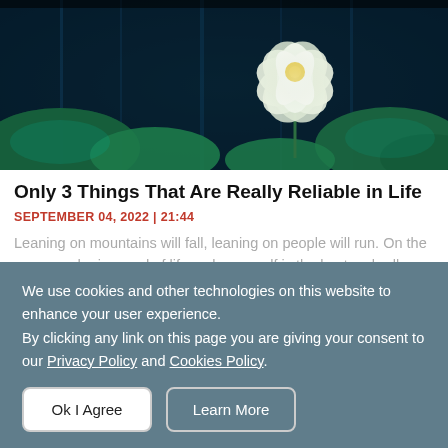[Figure (photo): Hero image of lotus flower with white petals and yellow center blooming above large green lily pads against a dark blue background]
Only 3 Things That Are Really Reliable in Life
SEPTEMBER 04, 2022 | 21:44
Leaning on mountains will fall, leaning on people will run. On the sunny and rainy road of life, only yourself is the best umbrella.
We use cookies and other technologies on this website to enhance your user experience. By clicking any link on this page you are giving your consent to our Privacy Policy and Cookies Policy.
Ok I Agree
Learn More